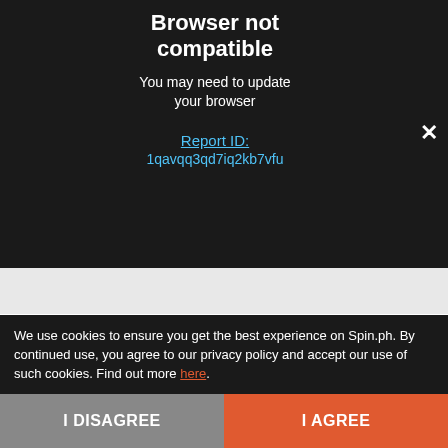Browser not compatible
You may need to update your browser
Report ID:
1qavqq3qd7iq2kb7vfu
But after the three-team, seven-player trade completed last Tuesday night, Taha is hopeful he can finally find a home – and a permanent address – at San Mig, even if it entails finding a
We use cookies to ensure you get the best experience on Spin.ph. By continued use, you agree to our privacy policy and accept our use of such cookies. Find out more here.
I DISAGREE
I AGREE